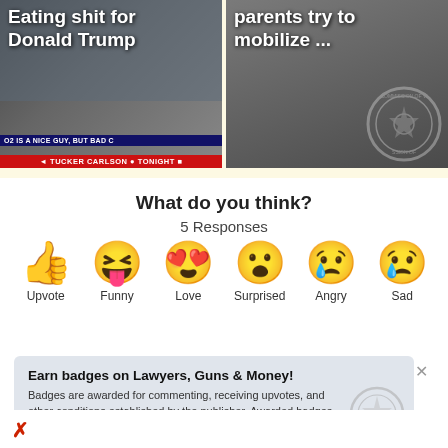[Figure (screenshot): Two thumbnail images side by side. Left: Tucker Carlson Tonight TV screenshot with text 'Eating shit for Donald Trump' and lower third bar. Right: dark background with government/university seal watermark and text 'parents try to mobilize ...']
What do you think?
5 Responses
[Figure (infographic): Six emoji reaction buttons in a row: thumbs up (Upvote), laughing with tongue (Funny), heart eyes (Love), surprised face (Surprised), crying/angry face (Angry), sad face with tear (Sad)]
Earn badges on Lawyers, Guns & Money!
Badges are awarded for commenting, receiving upvotes, and other conditions established by the publisher. Awarded badges will be displayed next